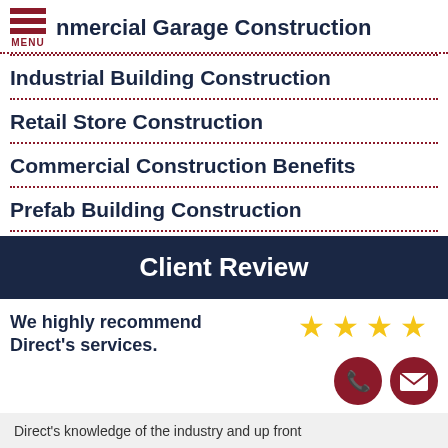Commercial Garage Construction
Industrial Building Construction
Retail Store Construction
Commercial Construction Benefits
Prefab Building Construction
Client Review
We highly recommend Direct's services.
Direct's knowledge of the industry and up front